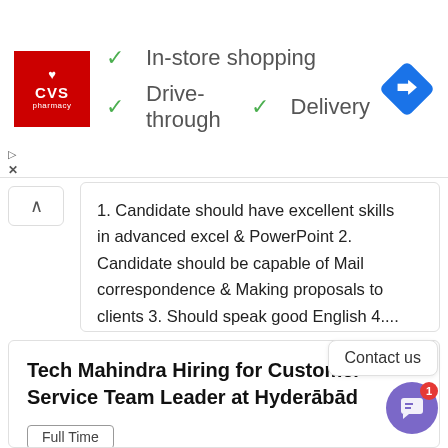[Figure (screenshot): CVS Pharmacy advertisement banner with logo and service features: In-store shopping, Drive-through, Delivery, with a blue navigation direction icon]
1. Candidate should have excellent skills in advanced excel & PowerPoint 2. Candidate should be capable of Mail correspondence & Making proposals to clients 3. Should speak good English 4....
Tech Mahindra Hiring for Customer Service Team Leader at Hyderābād
Full Time
Tech Mahindra   Hyderabad
Should be able to motivate, develop and mentor team members in a dynamically